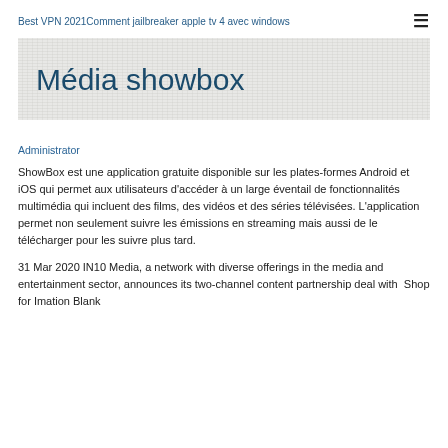Best VPN 2021Comment jailbreaker apple tv 4 avec windows
Média showbox
Administrator
ShowBox est une application gratuite disponible sur les plates-formes Android et iOS qui permet aux utilisateurs d'accéder à un large éventail de fonctionnalités multimédia qui incluent des films, des vidéos et des séries télévisées. L'application permet non seulement suivre les émissions en streaming mais aussi de le télécharger pour les suivre plus tard.
31 Mar 2020 IN10 Media, a network with diverse offerings in the media and entertainment sector, announces its two-channel content partnership deal with  Shop for Imation Blank